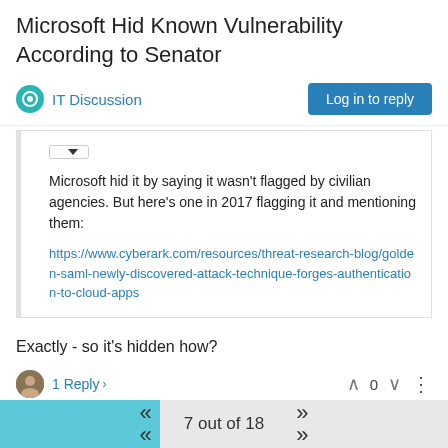Microsoft Hid Known Vulnerability According to Senator
IT Discussion
Log in to reply
Microsoft hid it by saying it wasn't flagged by civilian agencies. But here's one in 2017 flagging it and mentioning them:
https://www.cyberark.com/resources/threat-research-blog/golden-saml-newly-discovered-attack-technique-forges-authentication-to-cloud-apps
Exactly - so it's hidden how?
1 Reply > 0
scottalanmiller Feb 26, 2021 6:27 PM
7 out of 18